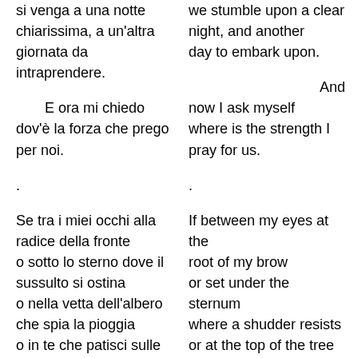si venga a una notte chiarissima, a un'altra giornata da intraprendere.

    E ora mi chiedo dov'è la forza che prego per noi.

.

Se tra i miei occhi alla radice della fronte o sotto lo sterno dove il sussulto si ostina o nella vetta dell'albero che spia la pioggia o in te che patisci sulle
we stumble upon a clear night, and another day to embark upon.

And now I ask myself where is the strength I pray for us.

.

If between my eyes at the root of my brow or set under the sternum where a shudder resists or at the top of the tree that spies the rain or in you who suffer on